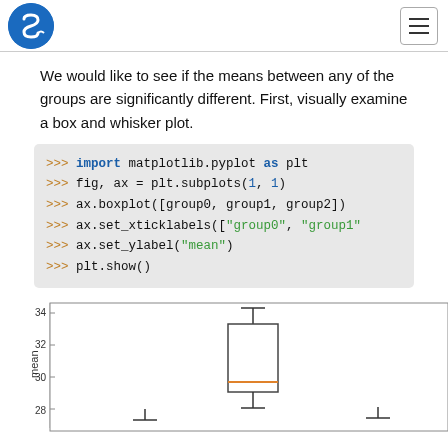Scipy logo and navigation menu
We would like to see if the means between any of the groups are significantly different. First, visually examine a box and whisker plot.
>>> import matplotlib.pyplot as plt
>>> fig, ax = plt.subplots(1, 1)
>>> ax.boxplot([group0, group1, group2])
>>> ax.set_xticklabels(["group0", "group1"
>>> ax.set_ylabel("mean")
>>> plt.show()
[Figure (other): Partial box and whisker plot showing y-axis labels 28, 30, 32, 34 labeled 'mean', with two visible box plots]